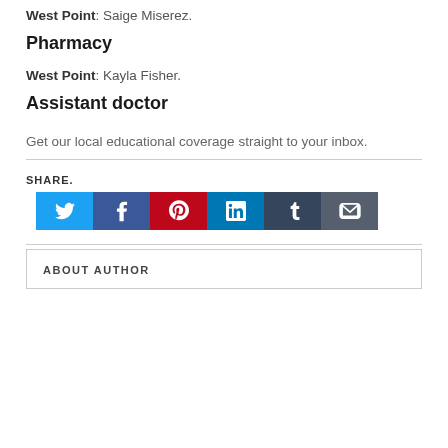West Point: Saige Miserez.
Pharmacy
West Point: Kayla Fisher.
Assistant doctor
Get our local educational coverage straight to your inbox.
SHARE.
[Figure (infographic): Social media share buttons: Twitter (blue), Facebook (dark blue), Pinterest (red), LinkedIn (dark blue), Tumblr (navy), Email (dark gray)]
ABOUT AUTHOR